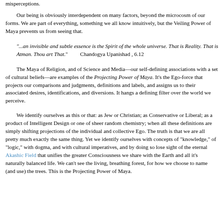misperceptions.
Our being is obviously interdependent on many factors, beyond the microcosm of our forms. We are part of everything, something we all know intuitively, but the Veiling Power of Maya prevents us from seeing that.
"...an invisible and subtle essence is the Spirit of the whole universe. That is Reality. That is Atman. Thou art That."        Chandogya Upanishad , 6.12
The Maya of Religion, and of Science and Media—our self-defining associations with a set of cultural beliefs—are examples of the Projecting Power of Maya. It's the Ego-force that projects our comparisons and judgments, definitions and labels, and assigns us to their associated desires, identifications, and diversions. It hangs a defining filter over the world we perceive.
We identify ourselves as this or that: as Jew or Christian; as Conservative or Liberal; as a product of Intelligent Design or one of sheer random chemistry; when all these definitions are simply shifting projections of the individual and collective Ego. The truth is that we are all pretty much exactly the same thing. Yet we identify ourselves with concepts of "knowledge," of "logic," with dogma, and with cultural imperatives, and by doing so lose sight of the eternal Akashic Field that unifies the greater Consciousness we share with the Earth and all it's naturally balanced life. We can't see the living, breathing forest, for how we choose to name (and use) the trees. This is the Projecting Power of Maya.